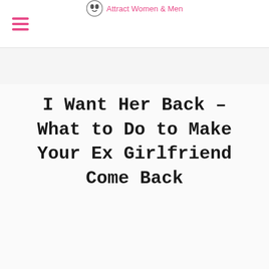Attract Women & Men
I Want Her Back – What to Do to Make Your Ex Girlfriend Come Back